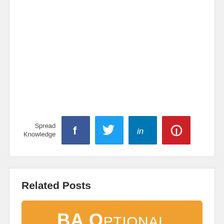[Figure (infographic): Social sharing section with label 'Spread Knowledge' and four social media icon buttons: Facebook (blue), Twitter (light blue), LinkedIn (dark blue), Pinterest (red)]
Related Posts
[Figure (illustration): Orange banner image with bold white text reading 'BA Optional' and a small icon below]